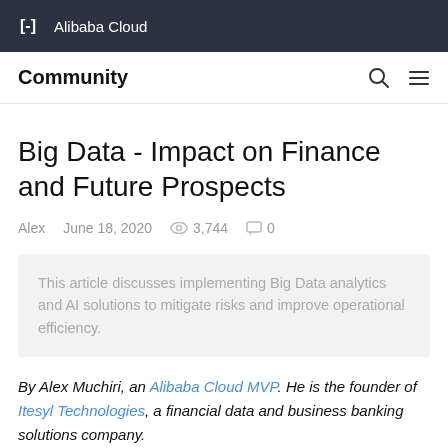Alibaba Cloud
Community
Big Data - Impact on Finance and Future Prospects
Alex   June 18, 2020   3,744   0
This article discusses implementing Big Data analytics and AI solutions to mitigate risks and improve operational efficiency.
By Alex Muchiri, an Alibaba Cloud MVP. He is the founder of Itesyl Technologies, a financial data and business banking solutions company.